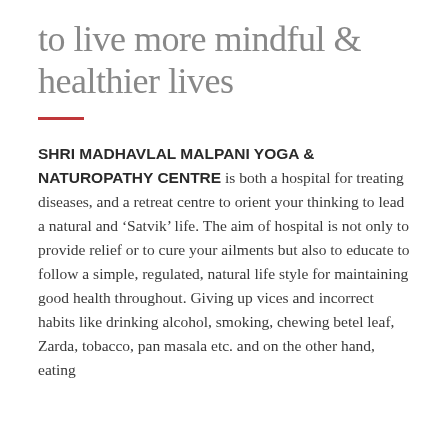to live more mindful & healthier lives
SHRI MADHAVLAL MALPANI YOGA & NATUROPATHY CENTRE is both a hospital for treating diseases, and a retreat centre to orient your thinking to lead a natural and ‘Satvik’ life. The aim of hospital is not only to provide relief or to cure your ailments but also to educate to follow a simple, regulated, natural life style for maintaining good health throughout. Giving up vices and incorrect habits like drinking alcohol, smoking, chewing betel leaf, Zarda, tobacco, pan masala etc. and on the other hand, eating